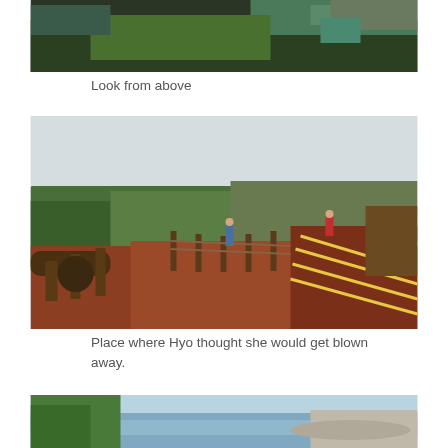[Figure (photo): Aerial view of green landscape with town and water visible in the background, taken from above.]
Look from above
[Figure (photo): Outdoor staircase/deck with wooden railings on a hilltop, green hills in background, overcast sky. People visible on the stairs. Red/orange steps with yellow stripe markings.]
Place where Hyo thought she would get blown away.
[Figure (photo): Coastal aerial view with green hillside in foreground, blue ocean waves, and a town/harbor visible in the distance.]